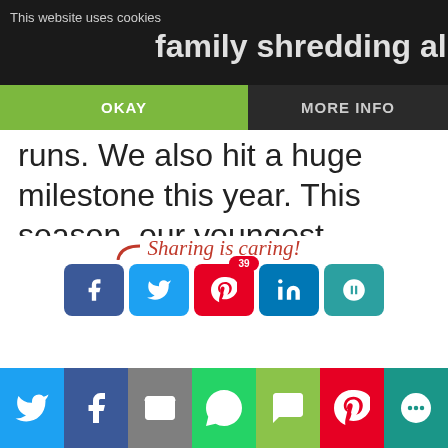This website uses cookies
family shredding all sorts of
OKAY
MORE INFO
runs. We also hit a huge milestone this year. This season, our youngest daughter has learnt to carve! She is five years old and...
Sharing is caring!
[Figure (screenshot): Social share buttons row: Facebook, Twitter, Pinterest (with badge 39), LinkedIn, and one more, plus a bottom bar with Twitter, Facebook, Email, WhatsApp, SMS, Pinterest, More sharing buttons]